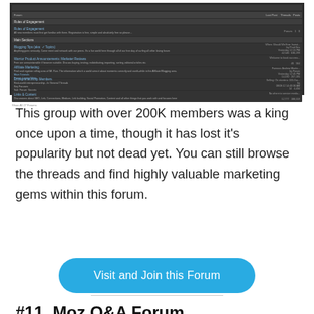[Figure (screenshot): Screenshot of a dark-themed online marketing forum showing several subforum categories with thread counts and post counts in a tabular layout.]
This group with over 200K members was a king once upon a time, though it has lost it's popularity but not dead yet. You can still browse the threads and find highly valuable marketing gems within this forum.
Visit and Join this Forum
#11. Moz Q&A Forum